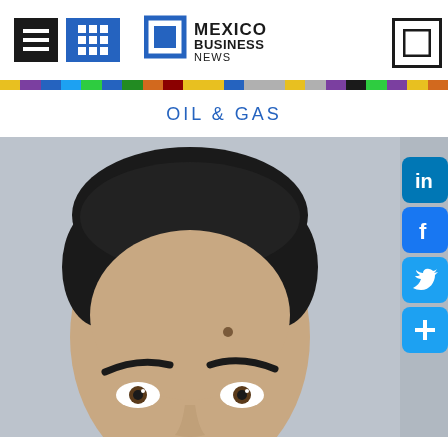[Figure (logo): Mexico Business News logo with hamburger menu icon, grid icon, and search icon in header]
[Figure (infographic): Multicolor horizontal bar separating header from content]
OIL & GAS
[Figure (photo): Close-up portrait photo of a man's face and forehead against a grey wall background, with social media icons (LinkedIn, Facebook, Twitter, share) on the right side]